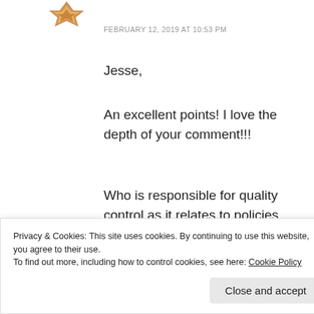[Figure (logo): Decorative star/quilt pattern avatar icon in brown and gold]
FEBRUARY 12, 2019 AT 10:53 PM
Jesse,
An excellent points! I love the depth of your comment!!!
Who is responsible for quality control as it relates to policies and procedures?
Is utilizing freelance websites like
companies (for more, an easy).
Privacy & Cookies: This site uses cookies. By continuing to use this website, you agree to their use.
To find out more, including how to control cookies, see here: Cookie Policy
Close and accept